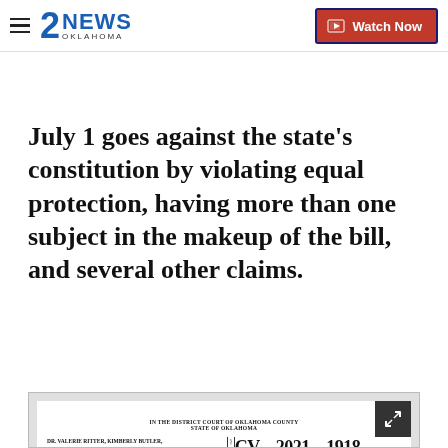2NEWS OKLAHOMA | Watch Now
July 1 goes against the state's constitution by violating equal protection, having more than one subject in the makeup of the bill, and several other claims.
[Figure (screenshot): Scanned court document: IN THE DISTRICT COURT OF OKLAHOMA COUNTY STATE OF OKLAHOMA. Plaintiffs: DR. VALERIE RITTER, KIMBERLY BUTLER, MARY ANN MARTIN, DR. BRITNEY ELSE, and THE OKLAHOMA STATE MEDICAL ASSOCIATION, an Oklahoma Not for Profit Corporation. Case number CV-2021-1918. Filed in District Court Oklahoma County AUG 12 2021, RICK WARREN COURT CLERK. Defendants: THE STATE OF OKLAHOMA, ACTING THROUGH THE 57TH LEGISLATURE; and, THE HONORABLE KEVIN STITT, in his official capacity as GOVERNOR OF THE STATE OF OKLAHOMA. PETITION. COME NOW, individual Plaintiffs, Dr. Valerie Ritter, Kimberly Butler, Mary Ann Martin, Dr. Britney Else as parents of students in public school districts within the State of Oklahoma and, Co-Plaintiff, The Oklahoma State Medical Association, whose membership...]